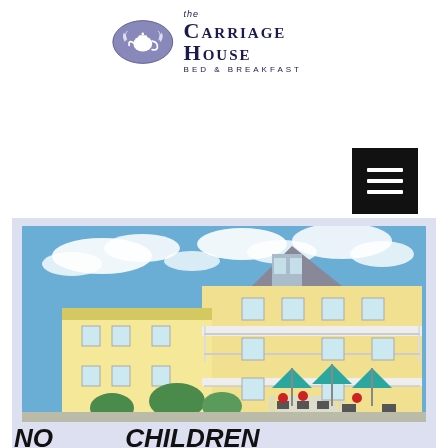[Figure (logo): The Carriage House Bed & Breakfast logo with oval containing teapot and floral motifs]
[Figure (other): Black hamburger menu button with three horizontal white lines]
[Figure (photo): Photo of The Carriage House Bed & Breakfast building — a large yellow Victorian-style house with white porches, balconies, teal umbrellas and outdoor seating under a blue sky]
NO CHILDREN UNDER 12 and NO